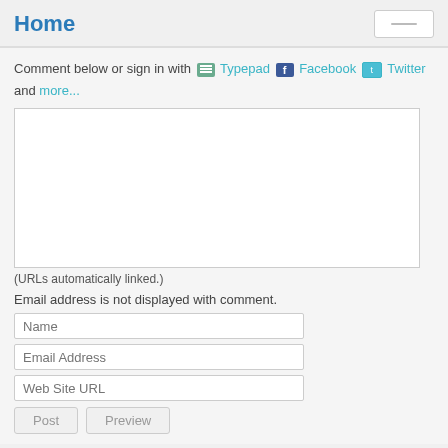Home
Comment below or sign in with Typepad Facebook Twitter and more...
[Figure (other): Large text input area for comment]
(URLs automatically linked.)
Email address is not displayed with comment.
Name (input field)
Email Address (input field)
Web Site URL (input field)
Post  Preview (buttons)